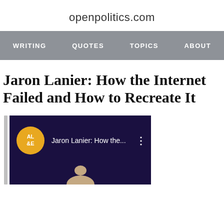openpolitics.com
WRITING   QUOTES   TOPICS   ABOUT
Jaron Lanier: How the Internet Failed and How to Recreate It
[Figure (screenshot): YouTube video thumbnail showing 'Jaron Lanier: How the...' with AL&E orange circular logo on dark purple background, three-dot menu icon visible, partial view of a person below]